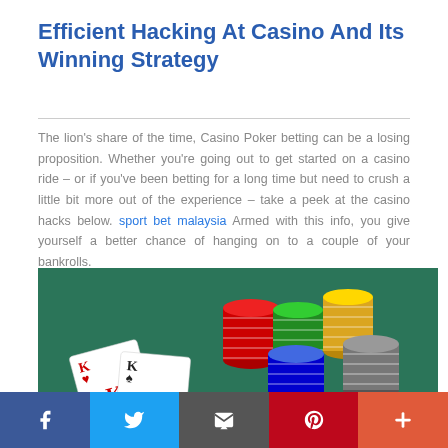Efficient Hacking At Casino And Its Winning Strategy
The lion's share of the time, Casino Poker betting can be a losing proposition. Whether you're going out to get started on a casino ride – or if you've been betting for a long time but need to crush a little bit more out of the experience – take a peek at the casino hacks below. sport bet malaysia Armed with this info, you give yourself a better chance of hanging on to a couple of your bankrolls.
[Figure (photo): A hand holding two King playing cards (King of Hearts and King of Spades) on a green casino table with stacks of poker chips (red, green, blue, yellow, gray).]
f  Twitter  Email  Pinterest  +